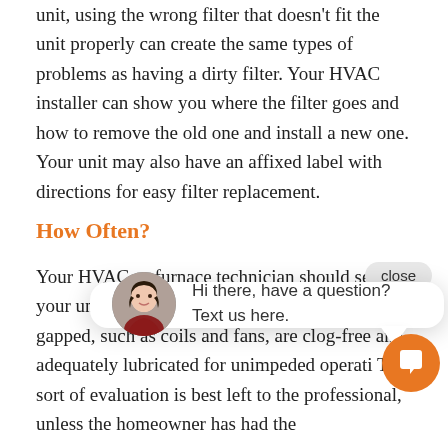unit, using the wrong filter that doesn't fit the unit properly can create the same types of problems as having a dirty filter. Your HVAC installer can show you where the filter goes and how to remove the old one and install a new one. Your unit may also have an affixed label with directions for easy filter replacement.
How Often?
Your HVAC or furnace technician should ser your unit once unit contains belts are not c is not gapped, such as coils and fans, are clog-free and adequately lubricated for unimpeded operati This sort of evaluation is best left to the professional, unless the homeowner has had the
[Figure (other): Chat widget overlay with close button, avatar of a woman, and message 'Hi there, have a question? Text us here.' with an orange chat bubble button.]